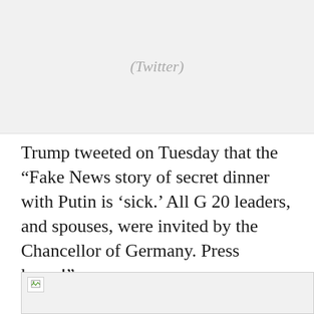(Twitter)
Trump tweeted on Tuesday that the “Fake News story of secret dinner with Putin is ‘sick.’ All G 20 leaders, and spouses, were invited by the Chancellor of Germany. Press knew!”
[Figure (screenshot): Broken image placeholder with small icon, gray background]